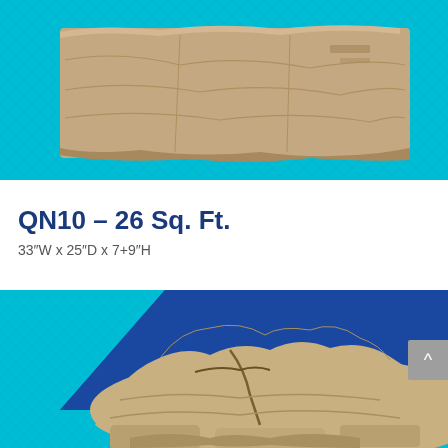[Figure (photo): Photo of a flat sandstone/rock ledger stone piece displayed on a teal herringbone textured background]
QN10 – 26 Sq. Ft.
33″W x 25″D x 7+9″H
[Figure (photo): Photo of a large rugged natural rock/stone formation displayed against a dark blue trapezoid background with teal border at bottom]